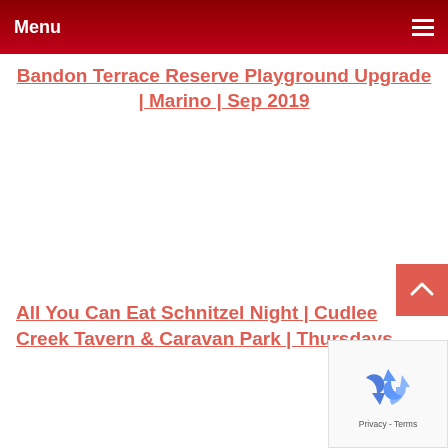Menu
Bandon Terrace Reserve Playground Upgrade | Marino | Sep 2019
All You Can Eat Schnitzel Night | Cudlee Creek Tavern & Caravan Park | Thursdays
[Figure (other): reCAPTCHA privacy badge with recycling arrows logo and Privacy - Terms text]